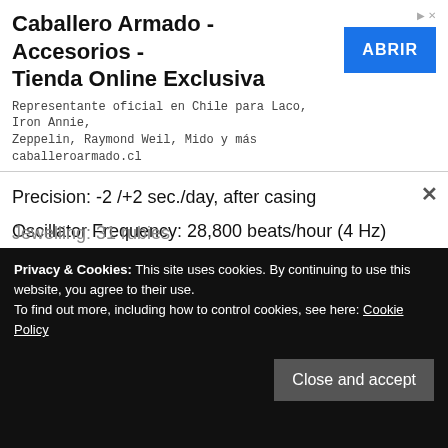[Figure (screenshot): Advertisement banner for Caballero Armado - Accesorios - Tienda Online Exclusiva with ABRIR button]
Precision: -2 /+2 sec./day, after casing
Oscillator Frequency: 28,800 beats/hour (4 Hz)
Paramagnetic blue Parachrom hairspring
Rolex overcoil
Large balance wheel with variable inertia
High-precision regulating via four gold Microstella nuts
Traversing Balance Bridge
High-performance Paraflex shock absorbers
Privacy & Cookies: This site uses cookies. By continuing to use this website, you agree to their use. To find out more, including how to control cookies, see here: Cookie Policy
Close and accept
Jewelling: 31 rubies